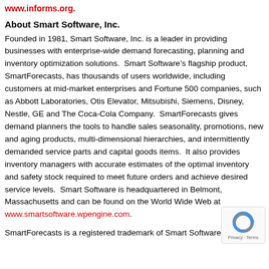www.informs.org.
About Smart Software, Inc.
Founded in 1981, Smart Software, Inc. is a leader in providing businesses with enterprise-wide demand forecasting, planning and inventory optimization solutions.  Smart Software’s flagship product, SmartForecasts, has thousands of users worldwide, including customers at mid-market enterprises and Fortune 500 companies, such as Abbott Laboratories, Otis Elevator, Mitsubishi, Siemens, Disney, Nestle, GE and The Coca-Cola Company.  SmartForecasts gives demand planners the tools to handle sales seasonality, promotions, new and aging products, multi-dimensional hierarchies, and intermittently demanded service parts and capital goods items.  It also provides inventory managers with accurate estimates of the optimal inventory and safety stock required to meet future orders and achieve desired service levels.  Smart Software is headquartered in Belmont, Massachusetts and can be found on the World Wide Web at www.smartsoftware.wpengine.com.
SmartForecasts is a registered trademark of Smart Software, Inc.  All